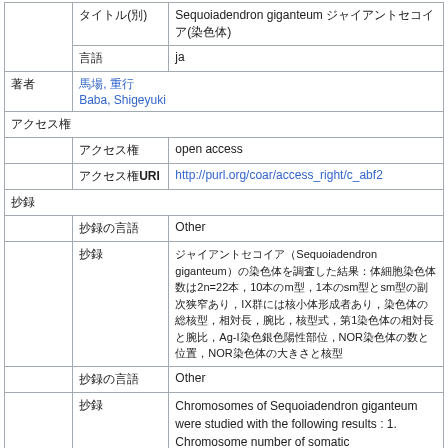| タイトル(別) | Sequoiadendron giganteum ジャイアントセコイア(染色体) |
| 言語 | ja |
| 著者 | 馬場, 重行
Baba, Shigeyuki |
| アクセス権 |  |
| アクセス権 | open access |
| アクセス権URI | http://purl.org/coar/access_right/c_abf2 |
| 抄録 |  |
| 抄録の言語 | Other |
| 抄録 | ジャイアントセコイア（Sequoiadendron giganteum）の染色体を調査した結果：体細胞染色体数は2n=22本，10本のm型，1本のsm型とsm型の副次狭窄あり，IX群には核小体形成者あり，染色体の総核型，相対長，腕比，核型式，第1染色体の相対長と腕比，Ag-I染色銀色陽性部位，NOR染色体の数と位置，NOR染色体の大きさと核型 |
| 抄録の言語 | Other |
| 抄録 | Chromosomes of Sequoiadendron giganteum were studied with the following results : 1. Chromosome number of somatic |